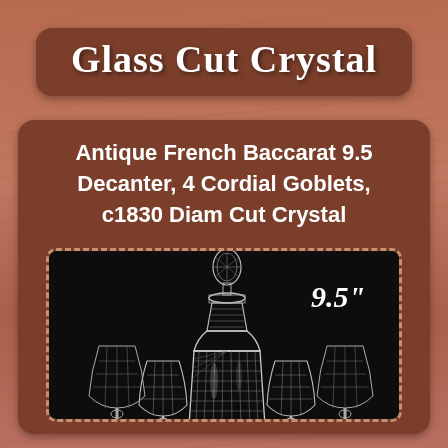Glass Cut Crystal
Antique French Baccarat 9.5 Decanter, 4 Cordial Goblets, c1830 Diam Cut Crystal
[Figure (photo): Photograph of an antique French Baccarat crystal set on black background: a tall diamond-cut decanter with stopper (9.5 inches tall) surrounded by 4 cordial goblets with diamond-cut pattern. White italic text '9.5"' is overlaid in the upper right of the image.]